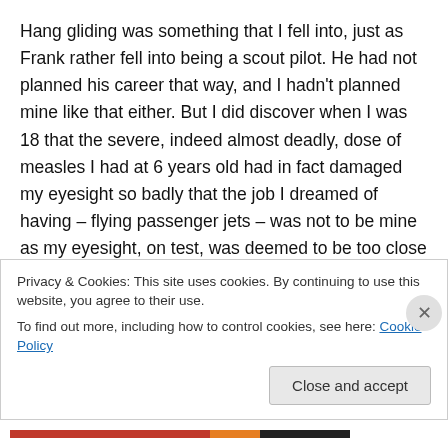Hang gliding was something that I fell into, just as Frank rather fell into being a scout pilot. He had not planned his career that way, and I hadn't planned mine like that either. But I did discover when I was 18 that the severe, indeed almost deadly, dose of measles I had at 6 years old had in fact damaged my eyesight so badly that the job I dreamed of having – flying passenger jets – was not to be mine as my eyesight, on test, was deemed to be too close to the minimum limits for a commercial pilot and was expected to fall below those limits by the time I was 28. That meant that the cost of training me as a commercial pilot, in those
Privacy & Cookies: This site uses cookies. By continuing to use this website, you agree to their use.
To find out more, including how to control cookies, see here: Cookie Policy
Close and accept